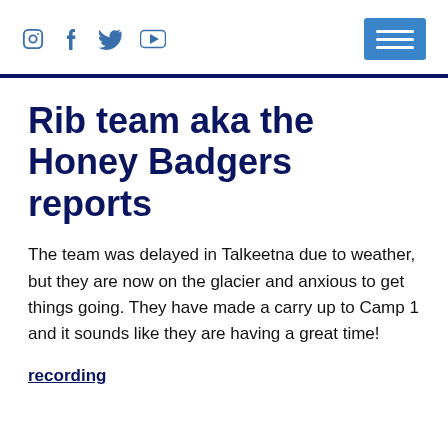Social icons (Instagram, Facebook, Twitter, YouTube) and hamburger menu
Rib team aka the Honey Badgers reports
The team was delayed in Talkeetna due to weather, but they are now on the glacier and anxious to get things going. They have made a carry up to Camp 1 and it sounds like they are having a great time!
recording